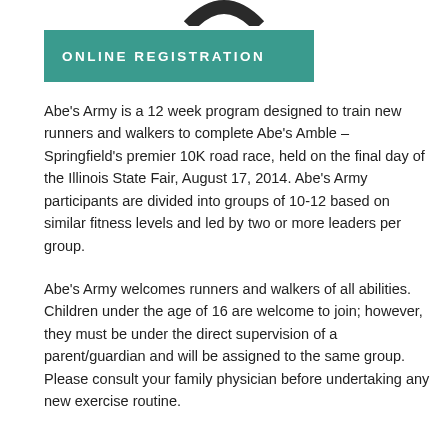[Figure (logo): Partial logo arc visible at top center of page]
ONLINE REGISTRATION
Abe's Army is a 12 week program designed to train new runners and walkers to complete Abe's Amble – Springfield's premier 10K road race, held on the final day of the Illinois State Fair, August 17, 2014. Abe's Army participants are divided into groups of 10-12 based on similar fitness levels and led by two or more leaders per group.
Abe's Army welcomes runners and walkers of all abilities. Children under the age of 16 are welcome to join; however, they must be under the direct supervision of a parent/guardian and will be assigned to the same group. Please consult your family physician before undertaking any new exercise routine.